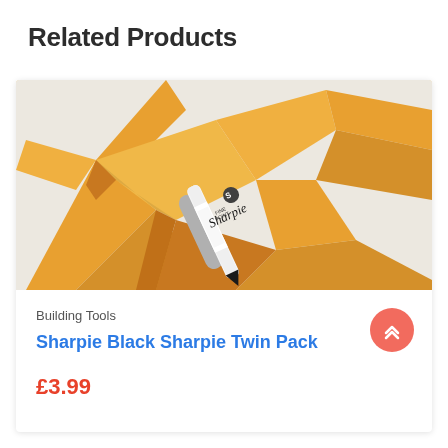Related Products
[Figure (photo): Photo of a Sharpie Fine Point marker pen resting on orange wooden star shapes against a white background]
Building Tools
Sharpie Black Sharpie Twin Pack
£3.99